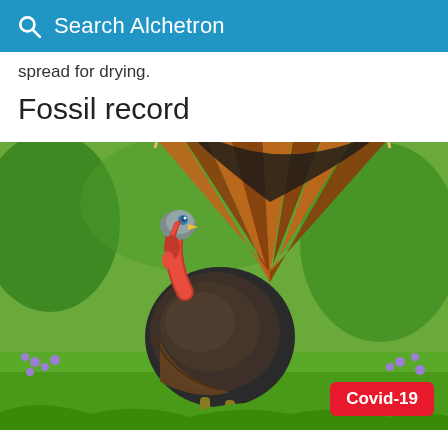Search Alchetron
spread for drying.
Fossil record
[Figure (photo): A wild turkey with fanned tail feathers displayed, standing on green grass with purple wildflowers in the background. The turkey has a red wattle, blue-grey head, and iridescent dark feathers with brown and orange fan tail.]
Covid-19